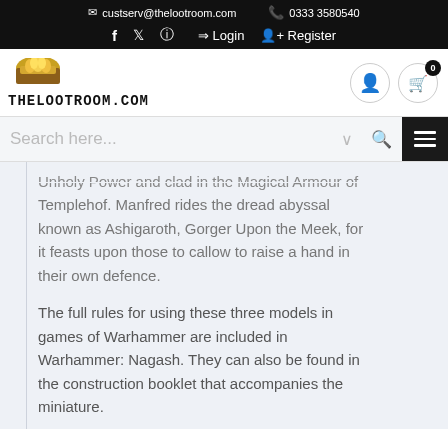custserv@thelootroom.com  0333 3580540  f  t  Login  Register
[Figure (logo): The Loot Room logo with treasure chest and stylized text THELOOTROOM.COM]
Search here...
Unholy Power and clad in the Magical Armour of Templehof. Manfred rides the dread abyssal known as Ashigaroth, Gorger Upon the Meek, for it feasts upon those to callow to raise a hand in their own defence.
The full rules for using these three models in games of Warhammer are included in Warhammer: Nagash. They can also be found in the construction booklet that accompanies the miniature.